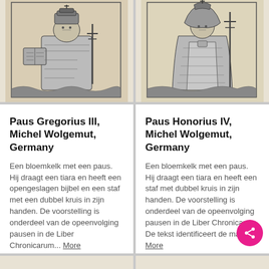[Figure (illustration): Woodcut illustration of a pope figure (Paus Gregorius III) holding a staff and open bible, wearing tiara. Black and white woodcut print on aged paper background. Left column, top.]
[Figure (illustration): Woodcut illustration of a pope figure (Paus Honorius IV) holding a staff with double cross, wearing tiara and cloak. Black and white woodcut print on aged paper background. Right column, top.]
Paus Gregorius III, Michel Wolgemut, Germany
Een bloemkelk met een paus. Hij draagt een tiara en heeft een opengeslagen bijbel en een staf met een dubbel kruis in zijn handen. De voorstelling is onderdeel van de opeenvolging pausen in de Liber Chronicarum... More
Paus Honorius IV, Michel Wolgemut, Germany
Een bloemkelk met een paus. Hij draagt een tiara en heeft een staf met dubbel kruis in zijn handen. De voorstelling is onderdeel van de opeenvolging pausen in de Liber Chronicarum. De tekst identificeert de man... More